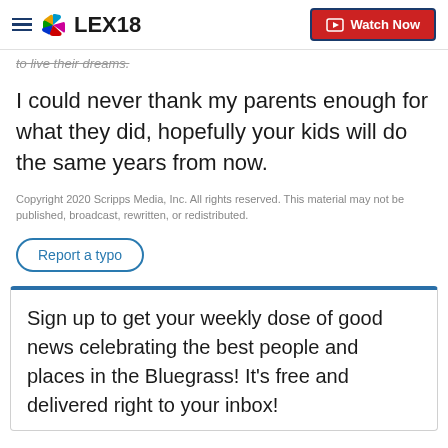LEX18 | Watch Now
to live their dreams.
I could never thank my parents enough for what they did, hopefully your kids will do the same years from now.
Copyright 2020 Scripps Media, Inc. All rights reserved. This material may not be published, broadcast, rewritten, or redistributed.
Report a typo
Sign up to get your weekly dose of good news celebrating the best people and places in the Bluegrass! It's free and delivered right to your inbox!